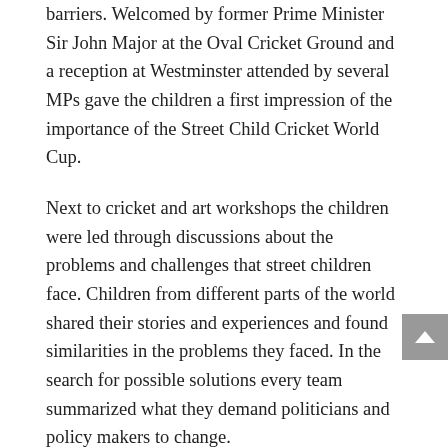barriers. Welcomed by former Prime Minister Sir John Major at the Oval Cricket Ground and a reception at Westminster attended by several MPs gave the children a first impression of the importance of the Street Child Cricket World Cup.
Next to cricket and art workshops the children were led through discussions about the problems and challenges that street children face. Children from different parts of the world shared their stories and experiences and found similarities in the problems they faced. In the search for possible solutions every team summarized what they demand politicians and policy makers to change.
The highlight of the tournament was the finals held at Lord's Cricket Ground where the final of the ICC Cricket World Cup will be held on the 14th of July. At the “Home of Cricket” Team India South won the cricket, but all the young people showed they are champions